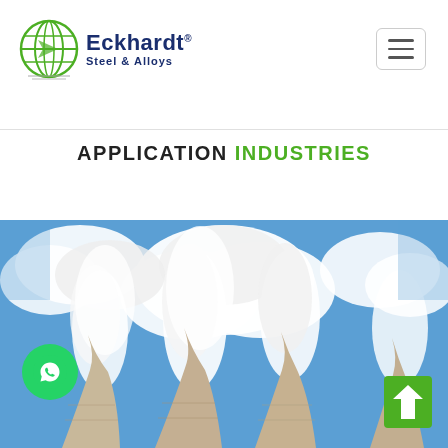[Figure (logo): Eckhardt Steel & Alloys logo with green globe icon and company name]
APPLICATION INDUSTRIES
[Figure (photo): Industrial cooling towers emitting white steam against a blue sky, representing power generation or heavy industry]